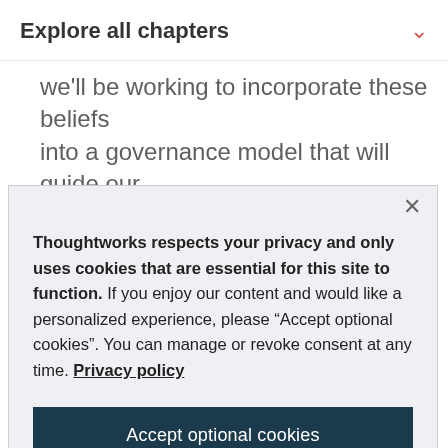Explore all chapters
we'll be working to incorporate these beliefs into a governance model that will guide our
Thoughtworks respects your privacy and only uses cookies that are essential for this site to function. If you enjoy our content and would like a personalized experience, please “Accept optional cookies”. You can manage or revoke consent at any time. Privacy policy
Accept optional cookies
Manage preferences